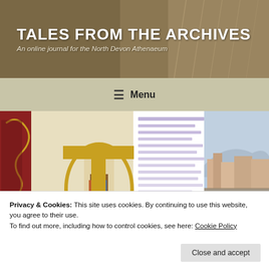TALES FROM THE ARCHIVES
An online journal for the North Devon Athenaeum
☰ Menu
[Figure (illustration): Composite hero image showing a medieval illuminated manuscript with a figure inside a decorative letter, handwritten text, and a watercolor painting of a town with a bridge and river. Overlaid white italic text reads '10 Facts...' with an NDA logo.]
Privacy & Cookies: This site uses cookies. By continuing to use this website, you agree to their use.
To find out more, including how to control cookies, see here: Cookie Policy
Close and accept